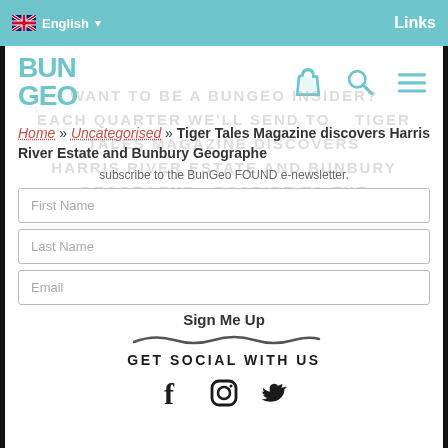English | Links
[Figure (logo): BunGeo logo in teal/cyan color]
Home » Uncategorised » Tiger Tales Magazine discovers Harris River Estate and Bunbury Geographe
subscribe to the BunGeo FOUND e-newsletter.
First Name
Last Name
Email
Sign Me Up
GET SOCIAL WITH US
[Figure (illustration): Social media icons: Facebook, Instagram, Twitter]